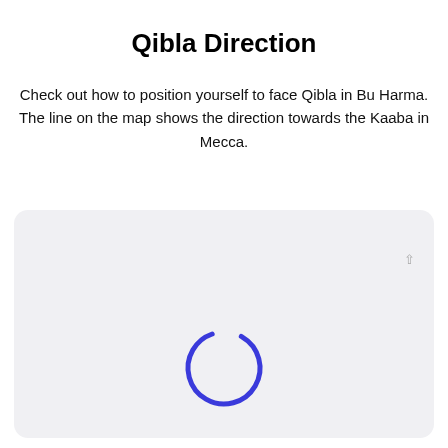Qibla Direction
Check out how to position yourself to face Qibla in Bu Harma. The line on the map shows the direction towards the Kaaba in Mecca.
[Figure (screenshot): A loading spinner (partial circle arc in blue/indigo color) centered in a light gray rounded rectangle box, representing a map loading state. A small arrow or marker is visible in the upper right area of the gray box.]